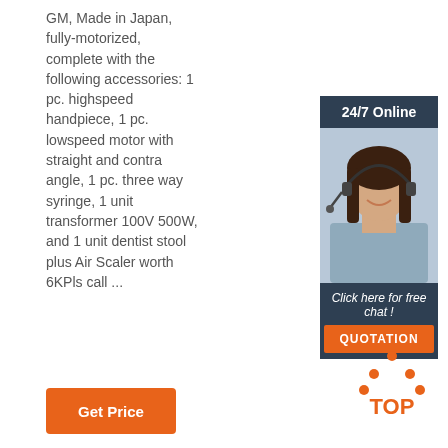GM, Made in Japan, fully-motorized, complete with the following accessories: 1 pc. highspeed handpiece, 1 pc. lowspeed motor with straight and contra angle, 1 pc. three way syringe, 1 unit transformer 100V 500W, and 1 unit dentist stool plus Air Scaler worth 6KPls call ...
[Figure (other): 24/7 Online customer service banner with a photo of a smiling woman wearing a headset. Below the photo is text 'Click here for free chat!' and an orange 'QUOTATION' button, all on a dark navy background.]
[Figure (logo): TOP logo with orange dots arranged in a triangle above the word TOP in orange letters.]
Get Price